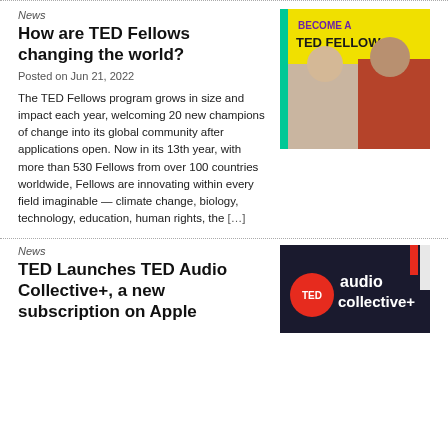News
How are TED Fellows changing the world?
Posted on Jun 21, 2022
[Figure (photo): Promotional banner: 'BECOME A TED FELLOW' with two people smiling and 'APPLY NOW' button]
The TED Fellows program grows in size and impact each year, welcoming 20 new champions of change into its global community after applications open. Now in its 13th year, with more than 530 Fellows from over 100 countries worldwide, Fellows are innovating within every field imaginable — climate change, biology, technology, education, human rights, the [...]
News
TED Launches TED Audio Collective+, a new subscription on Apple
[Figure (photo): TED Audio Collective+ logo/banner on dark background]